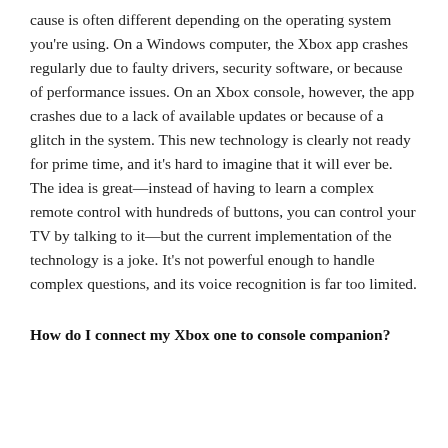cause is often different depending on the operating system you're using. On a Windows computer, the Xbox app crashes regularly due to faulty drivers, security software, or because of performance issues. On an Xbox console, however, the app crashes due to a lack of available updates or because of a glitch in the system. This new technology is clearly not ready for prime time, and it's hard to imagine that it will ever be. The idea is great—instead of having to learn a complex remote control with hundreds of buttons, you can control your TV by talking to it—but the current implementation of the technology is a joke. It's not powerful enough to handle complex questions, and its voice recognition is far too limited.
How do I connect my Xbox one to console companion?